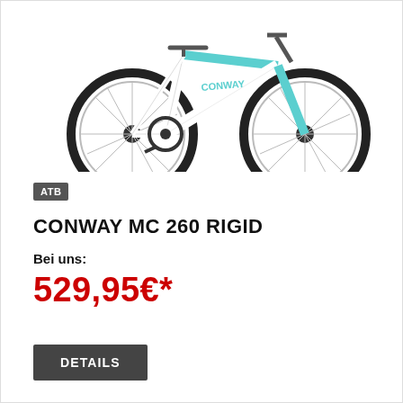[Figure (photo): White and teal Conway MC 260 Rigid mountain bike photographed on white background, showing full side profile with spoked wheels, gear shifters, and Conway branding on frame]
ATB
CONWAY MC 260 RIGID
Bei uns:
529,95€*
DETAILS